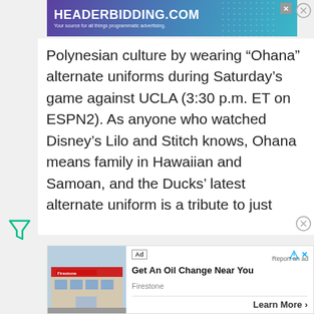[Figure (screenshot): Top banner advertisement for HEADERBIDDING.COM with text 'Your source for all things programmatic advertising.' on a blue/purple gradient background]
Polynesian culture by wearing “Ohana” alternate uniforms during Saturday’s game against UCLA (3:30 p.m. ET on ESPN2). As anyone who watched Disney’s Lilo and Stitch knows, Ohana means family in Hawaiian and Samoan, and the Ducks’ latest alternate uniform is a tribute to just
[Figure (screenshot): Bottom advertisement showing a Firestone auto service store building with text 'Get An Oil Change Near You', 'Firestone', and a 'Learn More' button]